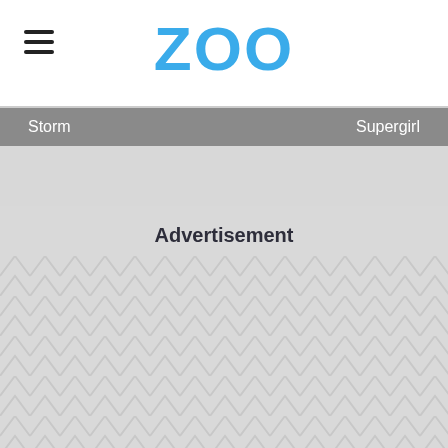ZOO
Storm    Supergirl
[Figure (other): Gray image strip placeholder]
Advertisement
[Figure (other): Advertisement placeholder area with chevron/herringbone pattern background]